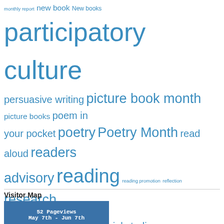[Figure (infographic): Tag cloud with words of varying sizes in blue, including: monthly report, new book, New books, participatory culture, persuasive writing, picture book month, picture books, poem in your pocket, poetry, Poetry Month, read aloud, readers advisory, reading, reading promotion, reflection, research, science, skype, smore, social studies, STEAM, storytelling, student book budget, student book budgets, student participation, student voice, technology, tinkering, transliteracy, UGA, World Read Aloud Day, WRAD14, writing]
Visitor Map
[Figure (screenshot): Blue map widget box showing '52 Pageviews May 7th - Jun 7th']